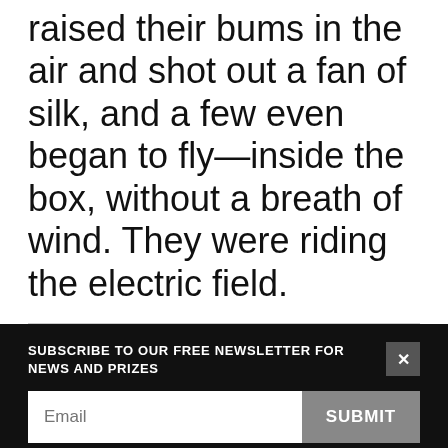raised their bums in the air and shot out a fan of silk, and a few even began to fly—inside the box, without a breath of wind. They were riding the electric field.
SUBSCRIBE TO OUR FREE NEWSLETTER FOR NEWS AND PRIZES
Email
SUBMIT
3 FREE ARTICLES LEFT
Subscribe for $1 | Sign in